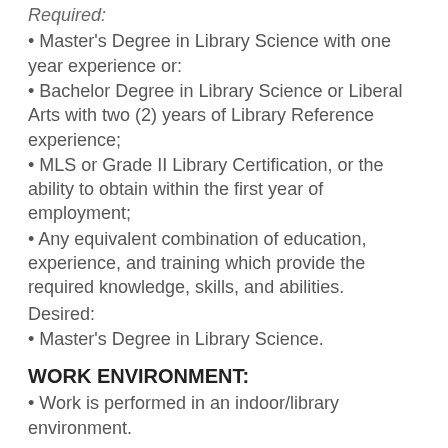Required:
• Master's Degree in Library Science with one year experience or:
• Bachelor Degree in Library Science or Liberal Arts with two (2) years of Library Reference experience;
• MLS or Grade II Library Certification, or the ability to obtain within the first year of employment;
• Any equivalent combination of education, experience, and training which provide the required knowledge, skills, and abilities.
Desired:
• Master's Degree in Library Science.
WORK ENVIRONMENT:
• Work is performed in an indoor/library environment.